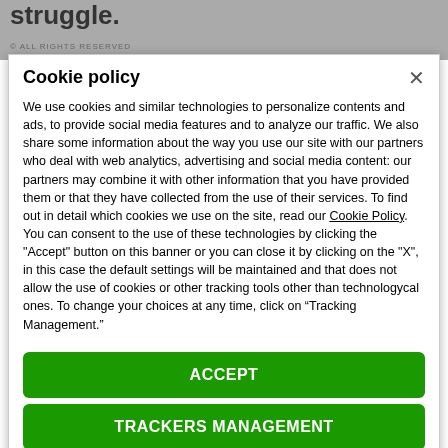struggle.
© ALL RIGHTS RESERVED
Cookie policy
We use cookies and similar technologies to personalize contents and ads, to provide social media features and to analyze our traffic. We also share some information about the way you use our site with our partners who deal with web analytics, advertising and social media content: our partners may combine it with other information that you have provided them or that they have collected from the use of their services. To find out in detail which cookies we use on the site, read our Cookie Policy. You can consent to the use of these technologies by clicking the "Accept" button on this banner or you can close it by clicking on the "X", in this case the default settings will be maintained and that does not allow the use of cookies or other tracking tools other than technologycal ones. To change your choices at any time, click on “Tracking Management.”
ACCEPT
TRACKERS MANAGEMENT
Show vendors | Show purposes